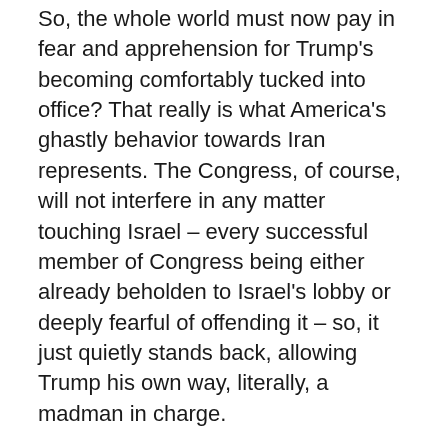So, the whole world must now pay in fear and apprehension for Trump's becoming comfortably tucked into office? That really is what America's ghastly behavior towards Iran represents. The Congress, of course, will not interfere in any matter touching Israel – every successful member of Congress being either already beholden to Israel's lobby or deeply fearful of offending it – so, it just quietly stands back, allowing Trump his own way, literally, a madman in charge.
And a law-abiding country, one that has never attacked anyone in its entire modern history, Iran, is supposed to validate the vicious prejudices and demands of a country, Israel, that has been almost continuously at war for seventy years? One that has attacked every neighbor that it has, some more than once? One which holds at least five million people as desperate captives and has held